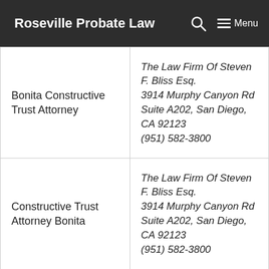Roseville Probate Law  Menu
|  |  |
| --- | --- |
| Bonita Constructive Trust Attorney | The Law Firm Of Steven F. Bliss Esq.
3914 Murphy Canyon Rd Suite A202, San Diego, CA 92123
(951) 582-3800 |
| Constructive Trust Attorney Bonita | The Law Firm Of Steven F. Bliss Esq.
3914 Murphy Canyon Rd Suite A202, San Diego, CA 92123
(951) 582-3800 |